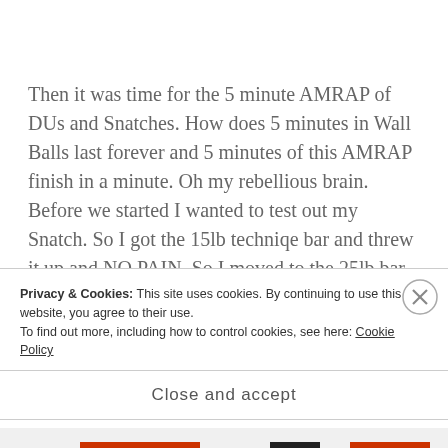Then it was time for the 5 minute AMRAP of DUs and Snatches. How does 5 minutes in Wall Balls last forever and 5 minutes of this AMRAP finish in a minute. Oh my rebellious brain. Before we started I wanted to test out my Snatch. So I got the 15lb techniqe bar and threw it up and NO PAIN. So I moved to the 25lb bar and NO PAIN. I was scared moving up to the 35lb bar but I picked it up and
Privacy & Cookies: This site uses cookies. By continuing to use this website, you agree to their use.
To find out more, including how to control cookies, see here: Cookie Policy
Close and accept